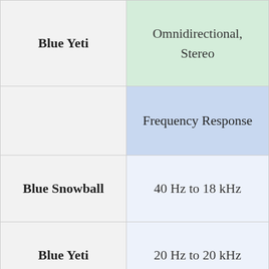| Microphone | Specification |
| --- | --- |
| Blue Yeti | Omnidirectional, Stereo |
|  | Frequency Response |
| Blue Snowball | 40 Hz to 18 kHz |
| Blue Yeti | 20 Hz to 20 kHz |
|  | Sample Rate |
| Blue Snowball | 44.1 kHz/16-bit |